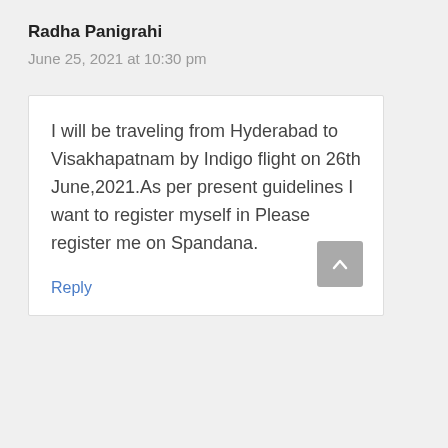Radha Panigrahi
June 25, 2021 at 10:30 pm
I will be traveling from Hyderabad to Visakhapatnam by Indigo flight on 26th June,2021.As per present guidelines I want to register myself in Please register me on Spandana.
Reply